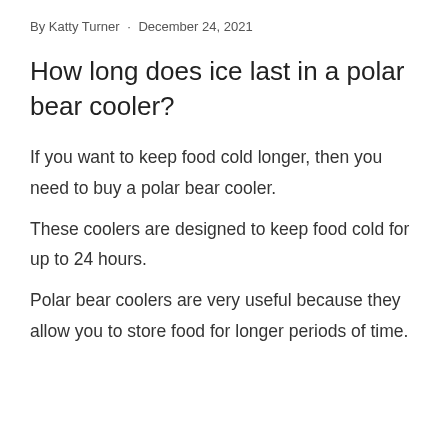By Katty Turner · December 24, 2021
How long does ice last in a polar bear cooler?
If you want to keep food cold longer, then you need to buy a polar bear cooler.
These coolers are designed to keep food cold for up to 24 hours.
Polar bear coolers are very useful because they allow you to store food for longer periods of time.